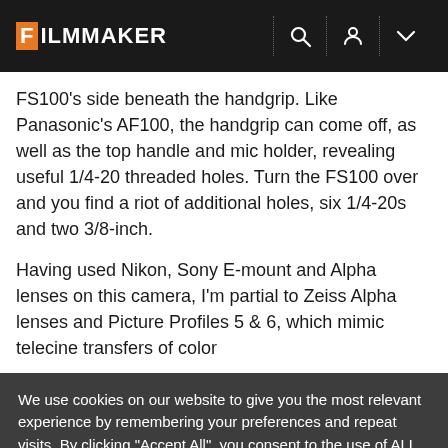FILMMAKER
FS100's side beneath the handgrip. Like Panasonic's AF100, the handgrip can come off, as well as the top handle and mic holder, revealing useful 1/4-20 threaded holes. Turn the FS100 over and you find a riot of additional holes, six 1/4-20s and two 3/8-inch.
Having used Nikon, Sony E-mount and Alpha lenses on this camera, I'm partial to Zeiss Alpha lenses and Picture Profiles 5 & 6, which mimic telecine transfers of color
We use cookies on our website to give you the most relevant experience by remembering your preferences and repeat visits. By clicking "Accept All", you consent to the use of ALL the cookies. However, you may visit "Cookie Settings" to provide a controlled consent.
Cookie Settings | Accept All